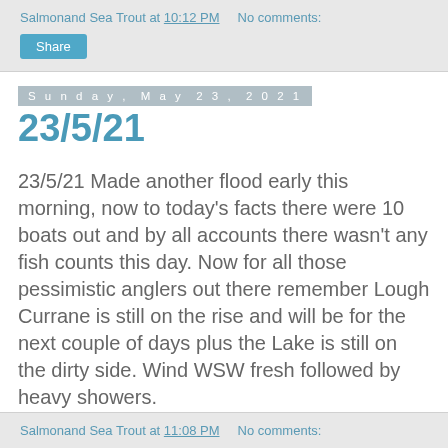Salmonand Sea Trout at 10:12 PM   No comments:
Share
Sunday, May 23, 2021
23/5/21
23/5/21 Made another flood early this morning, now to today's facts there were 10 boats out and by all accounts there wasn't any fish counts this day. Now for all those pessimistic anglers out there remember Lough Currane is still on the rise and will be for the next couple of days plus the Lake is still on the dirty side. Wind WSW fresh followed by heavy showers.
Salmonand Sea Trout at 11:08 PM   No comments: